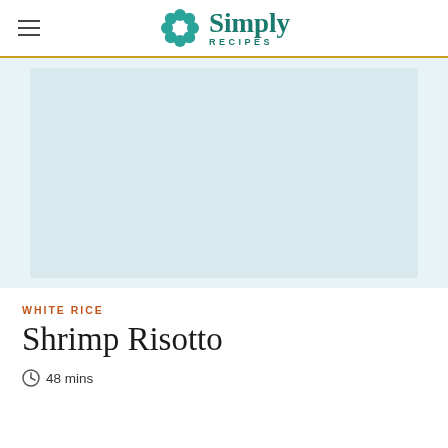Simply Recipes
[Figure (photo): Light blue/grey placeholder image area for recipe photo]
WHITE RICE
Shrimp Risotto
48 mins